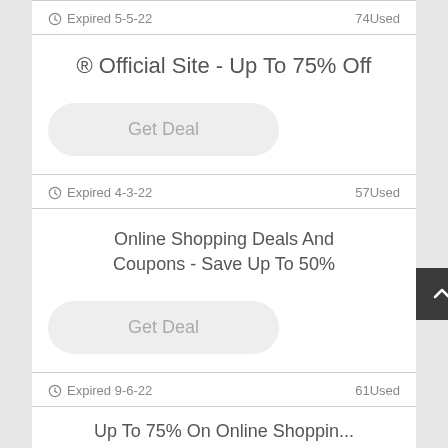Expired 5-5-22    74Used
® Official Site - Up To 75% Off
Get Deal
Expired 4-3-22    57Used
Online Shopping Deals And Coupons - Save Up To 50%
Get Deal
Expired 9-6-22    61Used
Up To 75% On Online Shopping...